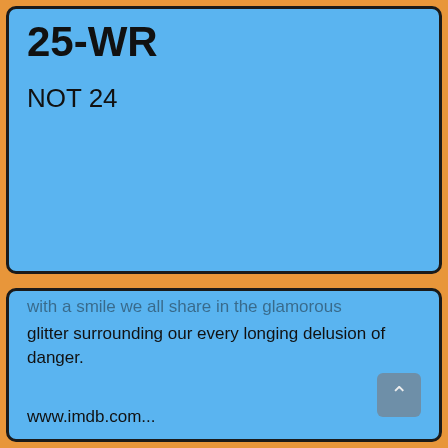25-WR
NOT 24
with a smile we all share in the glamorous glitter surrounding our every longing delusion of danger.
www.imdb.com...